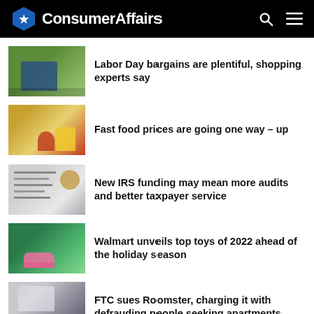ConsumerAffairs
Labor Day bargains are plentiful, shopping experts say
Fast food prices are going one way – up
New IRS funding may mean more audits and better taxpayer service
Walmart unveils top toys of 2022 ahead of the holiday season
FTC sues Roomster, charging it with defrauding people seeking apartments
Market Pantry White Fudge Animal Cookies recalled